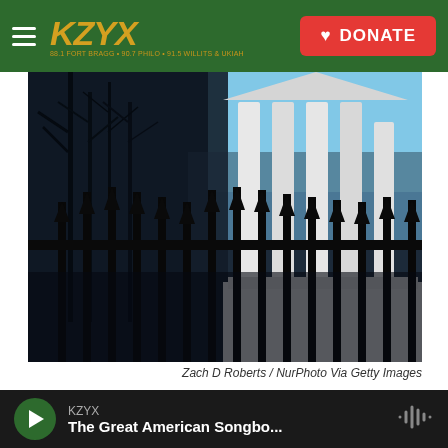KZYX | DONATE
[Figure (photo): Dark silhouette of an iron fence with pointed spear tips in the foreground, against the white columns of the Virginia State Capitol building in Richmond, with bare trees and blue sky visible.]
Zach D Roberts / NurPhoto Via Getty Images
A statue of Robert E. Lee and busts of other Confederate leaders have been removed from the Virginia Capitol in Richmond, shown here in January.
A 900-pound bronze statue of Gen. Robert E. Lee
KZYX — The Great American Songbo...